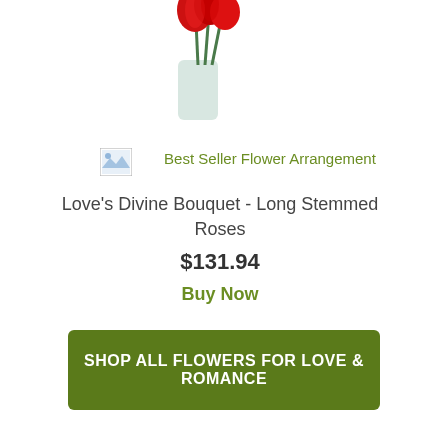[Figure (photo): Partial view of a flower arrangement with red roses in a glass vase, cropped at top of page]
[Figure (photo): Small thumbnail image placeholder icon (broken image icon) for Best Seller Flower Arrangement]
Best Seller Flower Arrangement
Love's Divine Bouquet - Long Stemmed Roses
$131.94
Buy Now
SHOP ALL FLOWERS FOR LOVE & ROMANCE